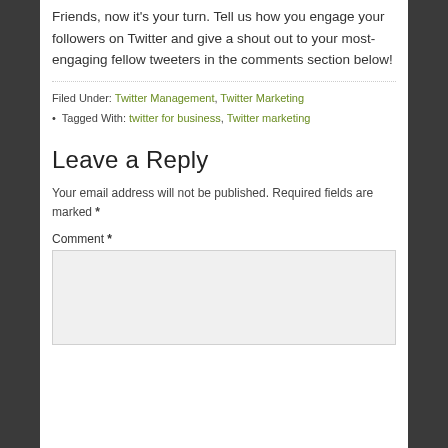Friends, now it's your turn. Tell us how you engage your followers on Twitter and give a shout out to your most-engaging fellow tweeters in the comments section below!
Filed Under: Twitter Management, Twitter Marketing
Tagged With: twitter for business, Twitter marketing
Leave a Reply
Your email address will not be published. Required fields are marked *
Comment *